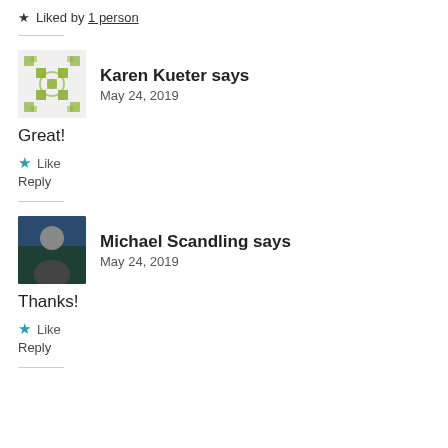★ Liked by 1 person
Karen Kueter says
May 24, 2019
Great!
★ Like
Reply
Michael Scandling says
May 24, 2019
Thanks!
★ Like
Reply